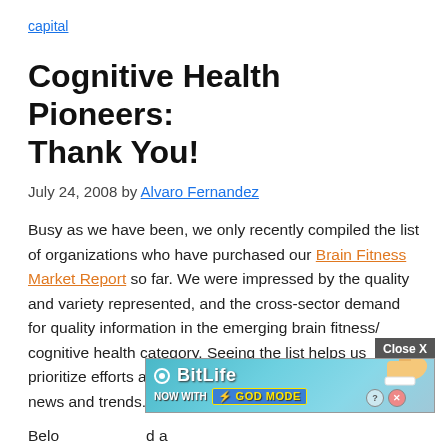capital
Cognitive Health Pioneers: Thank You!
July 24, 2008 by Alvaro Fernandez
Busy as we have been, we only recently compiled the list of organizations who have purchased our Brain Fitness Market Report so far. We were impressed by the quality and variety represented, and the cross-sector demand for quality information in the emerging brain fitness/ cognitive health category. Seeing the list helps us prioritize efforts and coverage of market and research news and trends.
[Figure (screenshot): BitLife ad banner with 'NOW WITH GOD MODE' text and pointing hand illustration, with a Close X button in gray]
Belo... d a